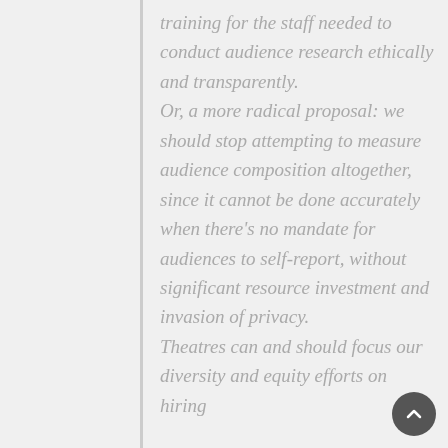training for the staff needed to conduct audience research ethically and transparently. Or, a more radical proposal: we should stop attempting to measure audience composition altogether, since it cannot be done accurately when there's no mandate for audiences to self-report, without significant resource investment and invasion of privacy. Theatres can and should focus our diversity and equity efforts on hiring